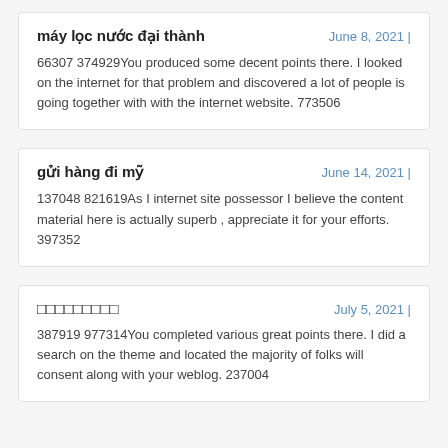máy lọc nước đại thành
June 8, 2021 |
66307 374929You produced some decent points there. I looked on the internet for that problem and discovered a lot of people is going together with with the internet website. 773506
gửi hàng đi mỹ
June 14, 2021 |
137048 821619As I internet site possessor I believe the content material here is actually superb , appreciate it for your efforts. 397352
□□□□□□□□□
July 5, 2021 |
387919 977314You completed various great points there. I did a search on the theme and located the majority of folks will consent along with your weblog. 237004